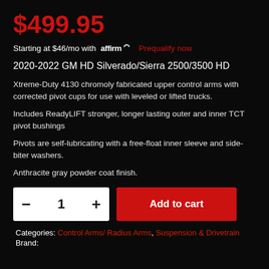$499.95
Starting at $46/mo with affirm Prequalify now
2020-2022 GM HD Silverado/Sierra 2500/3500 HD
Xtreme-Duty 4130 chromoly fabricated upper control arms with corrected pivot cups for use with leveled or lifted trucks.
Includes ReadyLIFT stronger, longer lasting outer and inner TCT pivot bushings
Pivots are self-lubricating with a free-float inner sleeve and side-biter washers.
Anthracite gray powder coat finish.
Categories: Control Arms/ Radius Arms, Suspension & Drivetrain Brand: